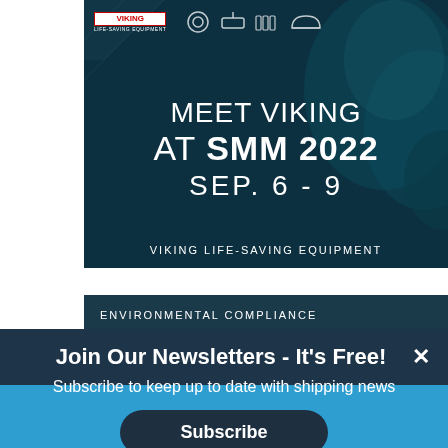[Figure (illustration): Viking Life-Saving Equipment advertisement banner. Dark teal ocean background with white text reading 'MEET VIKING AT SMM 2022 SEP. 6 - 9' and footer bar 'VIKING LIFE-SAVING EQUIPMENT'. Viking logo in top-left corner with marine equipment icons along the top.]
ENVIRONMENTAL COMPLIANCE
Join Our Newsletters - It's Free!
Subscribe to keep up to date with shipping news
Subscribe